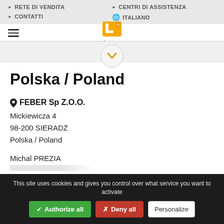RETE DI VENDITA | CENTRI DI ASSISTENZA | CONTATTI | ITALIANO
[Figure (logo): Legras brand logo with yellow square and L icon]
Polska / Poland
FEBER Sp Z.O.O.
Mickiewicza 4
98-200 SIERADZ
Polska / Poland
Michal PREZIA
This site uses cookies and gives you control over what service you want to activate